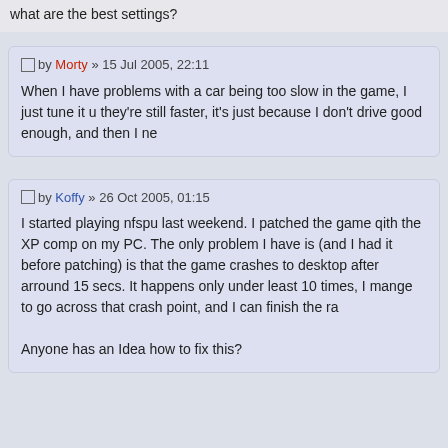what are the best settings?
by Morty » 15 Jul 2005, 22:11
When I have problems with a car being too slow in the game, I just tune it u... they're still faster, it's just because I don't drive good enough, and then I ne...
by Koffy » 26 Oct 2005, 01:15
I started playing nfspu last weekend. I patched the game qith the XP comp... on my PC. The only problem I have is (and I had it before patching) is that... the game crashes to desktop after arround 15 secs. It happens only under... least 10 times, I mange to go across that crash point, and I can finish the ra...
Anyone has an Idea how to fix this?